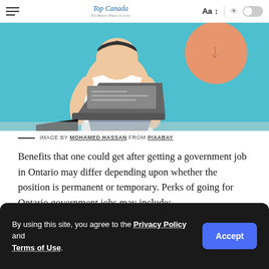Top Canada · No Better Place to Live — Aa | toggle
[Figure (illustration): Illustration of a person sitting and working on a laptop against a teal/cyan background, with an arrow-like circular design element visible at the right.]
IMAGE BY MOHAMED HASSAN FROM PIXABAY
Benefits that one could get after getting a government job in Ontario may differ depending upon whether the position is permanent or temporary. Perks of going for Ontario government jobs may include:
Public service pension plan and the Ontario public
By using this site, you agree to the Privacy Policy and Terms of Use.
retirement.